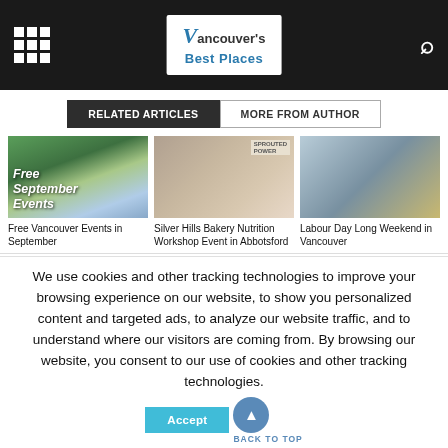Vancouver's Best Places
RELATED ARTICLES | MORE FROM AUTHOR
[Figure (photo): Outdoor event with crowd and scenic lake/mountain background, text overlay: Free September Events]
Free Vancouver Events in September
[Figure (photo): Two women at a bakery booth with products and Sprouted Power banner]
Silver Hills Bakery Nutrition Workshop Event in Abbotsford
[Figure (photo): Band performing on outdoor stage with mountains in background]
Labour Day Long Weekend in Vancouver
We use cookies and other tracking technologies to improve your browsing experience on our website, to show you personalized content and targeted ads, to analyze our website traffic, and to understand where our visitors are coming from. By browsing our website, you consent to our use of cookies and other tracking technologies.